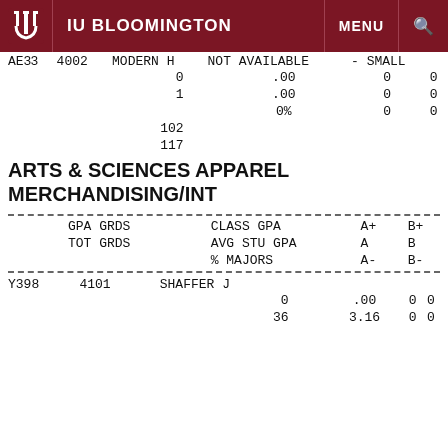IU BLOOMINGTON
| CODE | NUM | INSTRUCTOR | STATUS | SIZE |
| --- | --- | --- | --- | --- |
| AE33 | 4002 | MODERN H | NOT AVAILABLE | - SMALL |
|  |  | 0 | .00 | 0 | 0 |
|  |  | 1 | .00 | 0 | 0 |
|  |  |  | 0% | 0 | 0 |
|  |  | 102 |  |  |  |
|  |  | 117 |  |  |  |
ARTS & SCIENCES APPAREL MERCHANDISING/INT
| GPA GRDS | CLASS GPA | A+ | B+ | TOT GRDS | AVG STU GPA | A | B | % MAJORS | A- | B- |
| --- | --- | --- | --- | --- | --- | --- | --- | --- | --- | --- |
| CODE | NUM | INSTRUCTOR |
| --- | --- | --- |
| Y398 | 4101 | SHAFFER J |
|  |  | 0 | .00 | 0 | 0 |
|  |  | 36 | 3.16 | 0 | 0 |